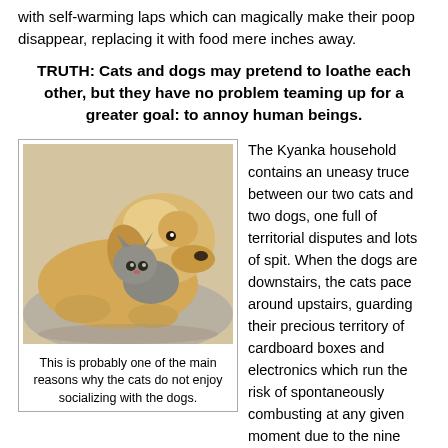with self-warming laps which can magically make their poop disappear, replacing it with food mere inches away.
TRUTH: Cats and dogs may pretend to loathe each other, but they have no problem teaming up for a greater goal: to annoy human beings.
[Figure (photo): A golden retriever dog nuzzling a small gray cat, both lying down together on a soft surface.]
This is probably one of the main reasons why the cats do not enjoy socializing with the dogs.
The Kyanka household contains an uneasy truce between our two cats and two dogs, one full of territorial disputes and lots of spit. When the dogs are downstairs, the cats pace around upstairs, guarding their precious territory of cardboard boxes and electronics which run the risk of spontaneously combusting at any given moment due to the nine pounds of animal hair lodged inside their fans. The only time our cats work up enough confidence to successfully venture into the Wild Wild West that is our kitchen is